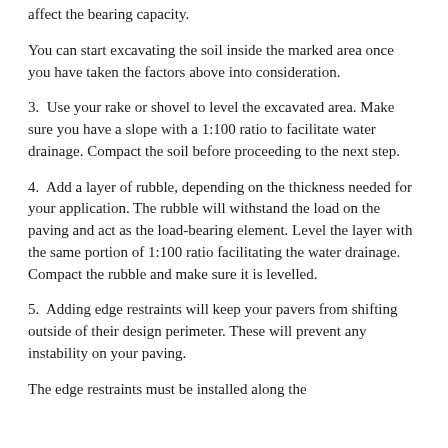affect the bearing capacity.
You can start excavating the soil inside the marked area once you have taken the factors above into consideration.
3.  Use your rake or shovel to level the excavated area. Make sure you have a slope with a 1:100 ratio to facilitate water drainage. Compact the soil before proceeding to the next step.
4.  Add a layer of rubble, depending on the thickness needed for your application. The rubble will withstand the load on the paving and act as the load-bearing element. Level the layer with the same portion of 1:100 ratio facilitating the water drainage. Compact the rubble and make sure it is levelled.
5.  Adding edge restraints will keep your pavers from shifting outside of their design perimeter. These will prevent any instability on your paving.
The edge restraints must be installed along the